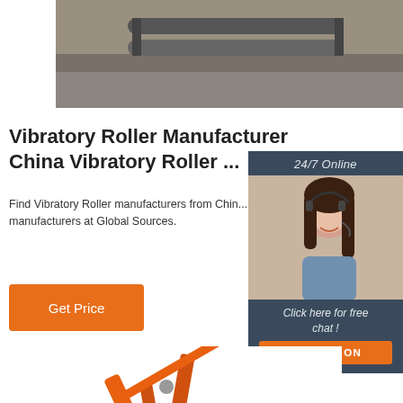[Figure (photo): Top photo showing a metal roller/bar equipment on a surface]
Vibratory Roller Manufacturer China Vibratory Roller ...
Find Vibratory Roller manufacturers from China quality Vibratory Roller supplied by experienced manufacturers at Global Sources.
[Figure (infographic): 24/7 Online chat widget with photo of customer service representative, 'Click here for free chat!' text and QUOTATION button]
Get Price
[Figure (photo): Bottom photo showing orange construction equipment arm/boom]